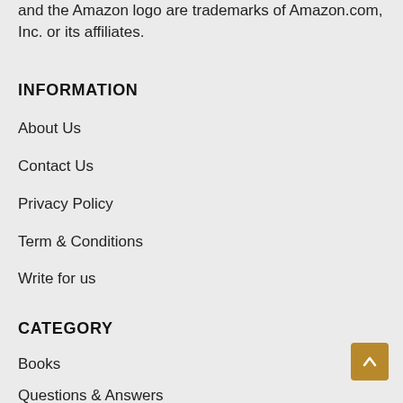and the Amazon logo are trademarks of Amazon.com, Inc. or its affiliates.
INFORMATION
About Us
Contact Us
Privacy Policy
Term & Conditions
Write for us
CATEGORY
Books
Questions & Answers